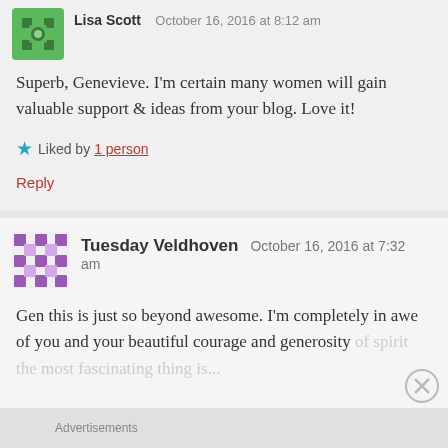[Figure (illustration): Green avatar icon with decorative pattern, for user Lisa Scott]
Lisa Scott   October 16, 2016 at 8:12 am
Superb, Genevieve. I'm certain many women will gain valuable support & ideas from your blog. Love it!
★ Liked by 1 person
Reply
[Figure (illustration): Purple avatar icon with decorative cross/star pattern, for user Tuesday Veldhoven]
Tuesday Veldhoven   October 16, 2016 at 7:32 am
Gen this is just so beyond awesome. I'm completely in awe of you and your beautiful courage and generosity of spirit, the most fascinating thing is...
Advertisements